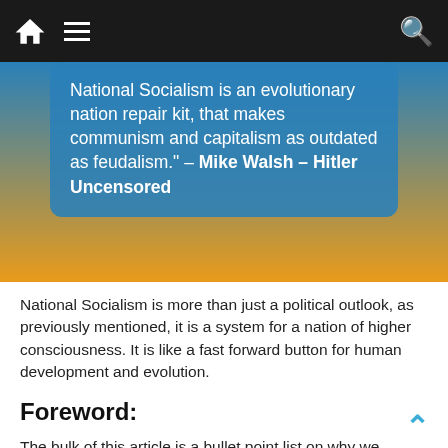Navigation bar with home, menu, and search icons
[Figure (screenshot): Blue quote box with white text over scenic background]
National Socialism is more than just a political outlook, as previously mentioned, it is a system for a nation of higher consciousness. It is like a fast forward button for human development and evolution.
Foreword:
The bulk of this article is a bullet point list on why we should be studying, and looking to understand, Germany's National Socialism. I write this, my second article on this topic, because this is such an important